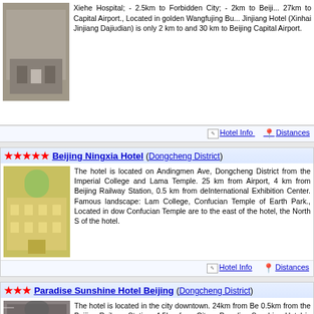Xiehe Hospital; - 2.5km to Forbidden City; - 2km to Beijing... 27km to Capital Airport., Located in golden Wangfujing Bu... Jinjiang Hotel (Xinhai Jinjiang Dajiudian) is only 2 km to... and 30 km to Beijing Capital Airport.
Hotel Info   Distances
★★★★★ Beijing Ningxia Hotel (Dongcheng District)
The hotel is located on Andingmen Ave, Dongcheng Dis... from the Imperial College and Lama Temple. 25 km from... Airport, 4 km from Beijing Railway Station, 0.5 km from d... International Exhibition Center. Famous landscape: La... College, Confucian Temple of Earth Park., Located in do... Confucian Temple are to the east of the hotel, the North S... of the hotel.
Hotel Info   Distances
★★★ Paradise Sunshine Hotel Beijing (Dongcheng District)
The hotel is located in the city downtown. 24km from Be... 0.5km from the Beijing Railway Station. 4.5km from City o... Paradise Sunshine Hotel is located near the Beijing Ra... Dongcheng district of Beijing. Nearby attractions inclu... shopping area, Tiananmen Square, Palace Museum, F... Sanlitun entertainment area. It is one block from a sub...